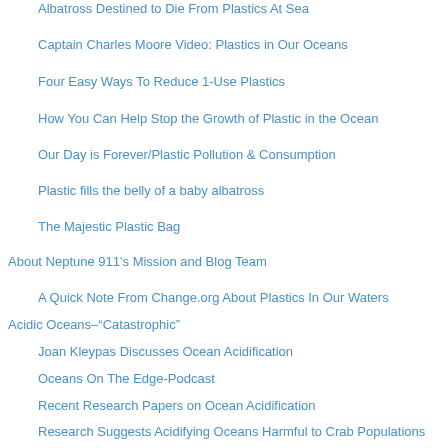Albatross Destined to Die From Plastics At Sea
Captain Charles Moore Video: Plastics in Our Oceans
Four Easy Ways To Reduce 1-Use Plastics
How You Can Help Stop the Growth of Plastic in the Ocean
Our Day is Forever/Plastic Pollution & Consumption
Plastic fills the belly of a baby albatross
The Majestic Plastic Bag
About Neptune 911's Mission and Blog Team
A Quick Note From Change.org About Plastics In Our Waters
Acidic Oceans–"Catastrophic"
Joan Kleypas Discusses Ocean Acidification
Oceans On The Edge-Podcast
Recent Research Papers on Ocean Acidification
Research Suggests Acidifying Oceans Harmful to Crab Populations
Choosing Sustainable Seafood
Dolphin Consumption Grows As Fisheries Shrink
Excellent Sustainable Seafood Guide
FDA Update Mercury Guidelines for Fish Consumption
Nigerian Vessel Cited for Illegal Fishing–Again
Rockfish–A Fish by Many Names